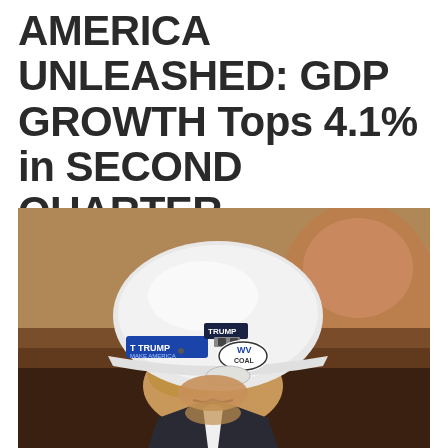AMERICA UNLEASHED: GDP GROWTH Tops 4.1% in SECOND QUARTER
[Figure (photo): Photo of a person wearing a white hard hat with Trump campaign stickers and a WV Coal sticker, viewed from slightly above, with a blurred background showing another person.]